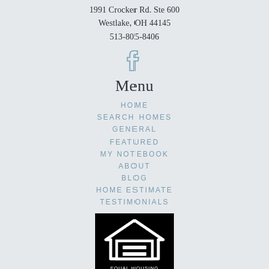1991 Crocker Rd. Ste 600
Westlake, OH 44145
513-805-8406
[Figure (logo): Facebook logo icon in light steel blue outline style]
Menu
HOME
SEARCH HOMES
GENERAL
FEATURED
MY NOTEBOOK
ABOUT
BLOG
HOME ESTIMATE
TESTIMONIALS
[Figure (logo): Equal Housing Opportunity logo — white house with equals sign on black background, with EQUAL HOUSING text below]